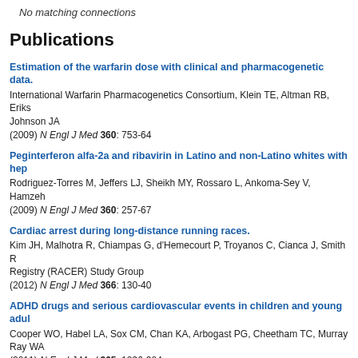No matching connections
Publications
Estimation of the warfarin dose with clinical and pharmacogenetic data.
International Warfarin Pharmacogenetics Consortium, Klein TE, Altman RB, Eriks... Johnson JA
(2009) N Engl J Med 360: 753-64
Peginterferon alfa-2a and ribavirin in Latino and non-Latino whites with hep...
Rodriguez-Torres M, Jeffers LJ, Sheikh MY, Rossaro L, Ankoma-Sey V, Hamzeh...
(2009) N Engl J Med 360: 257-67
Cardiac arrest during long-distance running races.
Kim JH, Malhotra R, Chiampas G, d'Hemecourt P, Troyanos C, Cianca J, Smith R... Registry (RACER) Study Group
(2012) N Engl J Med 366: 130-40
ADHD drugs and serious cardiovascular events in children and young adul...
Cooper WO, Habel LA, Sox CM, Chan KA, Arbogast PG, Cheetham TC, Murray... Ray WA
(2011) N Engl J Med 365: 1896-904
Tolvaptan in patients with autosomal dominant polycystic kidney disease.
Torres VE, Chapman AB, Devuyst O, Gansevoort RT, Grantham JJ, Higashihara...
(2012) N Engl J Med 367: 2407-18